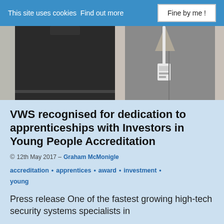This site uses cookies Find out more   Fine by me!
[Figure (photo): Two people standing; one in a black polo shirt on the left, one in a grey cardigan with a lanyard on the right. Photo cropped to torso area.]
VWS recognised for dedication to apprenticeships with Investors in Young People Accreditation
© 12th May 2017 – Graham McMonigle
accreditation • apprentices • award • investment • young
Press release One of the fastest growing high-tech security systems specialists in